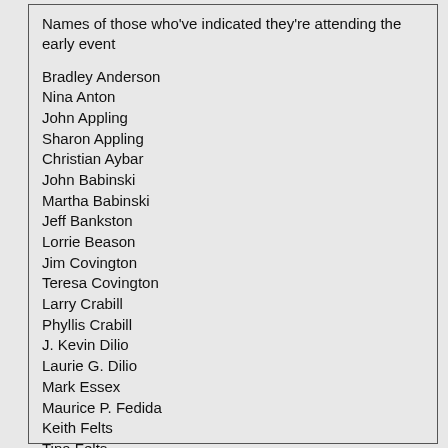Names of those who've indicated they're attending the early event
Bradley Anderson
Nina Anton
John Appling
Sharon Appling
Christian Aybar
John Babinski
Martha Babinski
Jeff Bankston
Lorrie Beason
Jim Covington
Teresa Covington
Larry Crabill
Phyllis Crabill
J. Kevin Dilio
Laurie G. Dilio
Mark Essex
Maurice P. Fedida
Keith Felts
Tina Felts
Karl Folkens
Nell Folkens
Rey Fortney